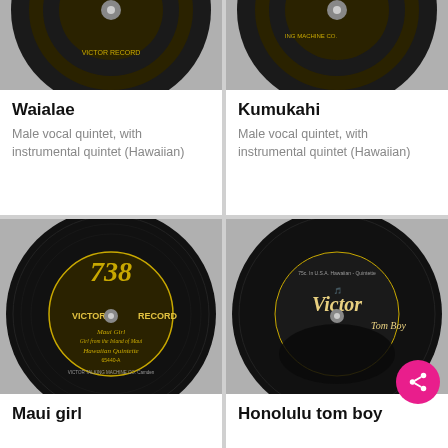[Figure (photo): Top portion of a Victor Record vinyl disc, partially cropped at top of page, left side]
Waialae
Male vocal quintet, with instrumental quintet (Hawaiian)
[Figure (photo): Top portion of a Victor Record vinyl disc, partially cropped at top of page, right side]
Kumukahi
Male vocal quintet, with instrumental quintet (Hawaiian)
[Figure (photo): Victor Record label 65440-A showing Maui Girl by Hawaiian Quintette]
Maui girl
[Figure (photo): Victor Record label showing Honolulu Tom Boy]
Honolulu tom boy